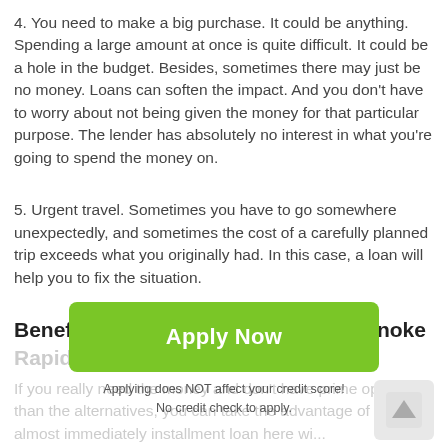4. You need to make a big purchase. It could be anything. Spending a large amount at once is quite difficult. It could be a hole in the budget. Besides, sometimes there may just be no money. Loans can soften the impact. And you don't have to worry about not being given the money for that particular purpose. The lender has absolutely no interest in what you're going to spend the money on.
5. Urgent travel. Sometimes you have to go somewhere unexpectedly, and sometimes the cost of a carefully planned trip exceeds what you originally had. In this case, a loan will help you to fix the situation.
Benefits of Installment Loans in Roanoke Rapids for Bad Credit
If you really need the money and don't have prime options than the alternatives, you can take the advantage of applying almost immediately installment loan here will...
[Figure (other): Green 'Apply Now' button with text below: 'Applying does NOT affect your credit score! No credit check to apply.']